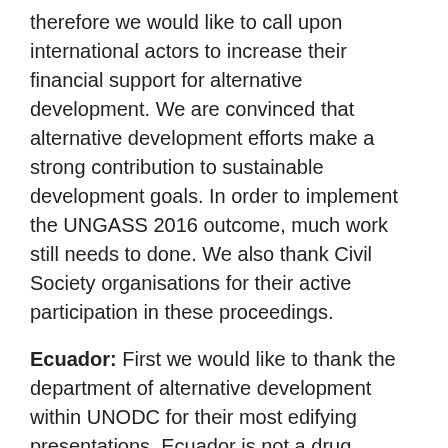therefore we would like to call upon international actors to increase their financial support for alternative development. We are convinced that alternative development efforts make a strong contribution to sustainable development goals. In order to implement the UNGASS 2016 outcome, much work still needs to done. We also thank Civil Society organisations for their active participation in these proceedings.
Ecuador: First we would like to thank the department of alternative development within UNODC for their most edifying presentations. Ecuador is not a drug producing country however, due to its most sensitive geographic location, we have undertaken urgent measures to address the